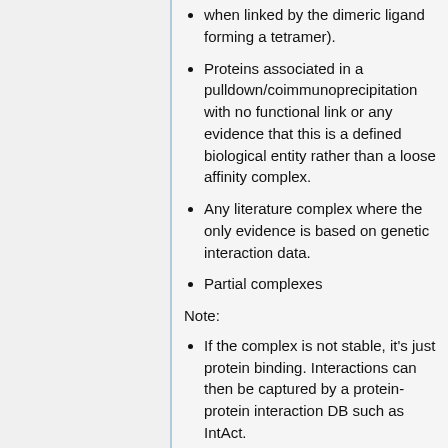when linked by the dimeric ligand forming a tetramer).
Proteins associated in a pulldown/coimmunoprecipitation with no functional link or any evidence that this is a defined biological entity rather than a loose affinity complex.
Any literature complex where the only evidence is based on genetic interaction data.
Partial complexes
Note:
If the complex is not stable, it's just protein binding. Interactions can then be captured by a protein-protein interaction DB such as IntAct.
Beware of partial complexes shown experimentally, especially when crystallised. Some subunits (e.g.